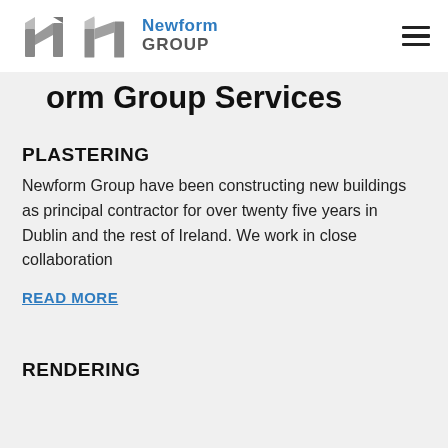Newform GROUP
Form Group Services
PLASTERING
Newform Group have been constructing new buildings as principal contractor for over twenty five years in Dublin and the rest of Ireland. We work in close collaboration
READ MORE
RENDERING